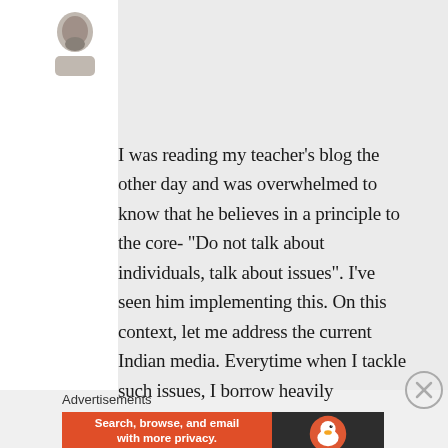[Figure (photo): Partial avatar/profile photo of a person, cropped at top-left of the page]
I was reading my teacher’s blog the other day and was overwhelmed to know that he believes in a principle to the core- “Do not talk about individuals, talk about issues”. I’ve seen him implementing this. On this context, let me address the current Indian media. Everytime when I tackle such issues, I borrow heavily
Advertisements
[Figure (screenshot): DuckDuckGo advertisement banner: orange left section with text 'Search, browse, and email with more privacy. All in One Free App', dark right section with DuckDuckGo duck logo and 'DuckDuckGo' text]